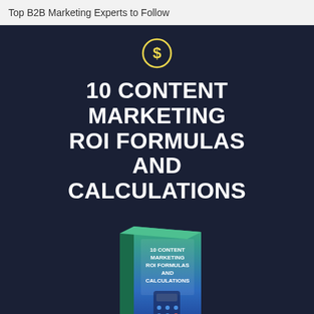Top B2B Marketing Experts to Follow
[Figure (illustration): Dollar sign icon in a yellow circle on dark navy background]
10 CONTENT MARKETING ROI FORMULAS AND CALCULATIONS
[Figure (illustration): 3D book cover image showing '10 Content Marketing ROI Formulas and Calculations' with a gradient green to blue cover and a calculator graphic]
Free Guide Reveals How Your Free Content Can Be Measured